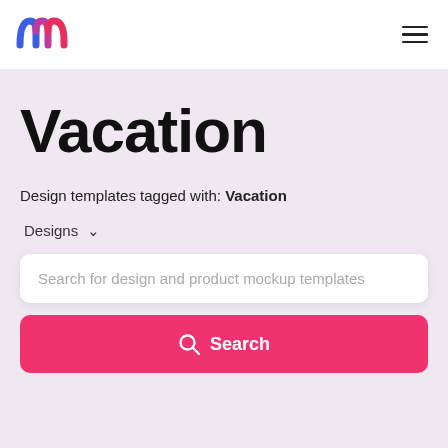[Figure (logo): Colorful 'm' logo icon in blue and pink]
[Figure (illustration): Hamburger menu icon (three horizontal lines)]
Vacation
Design templates tagged with: Vacation
Designs ∨
Search for design and product mockup templates
Search